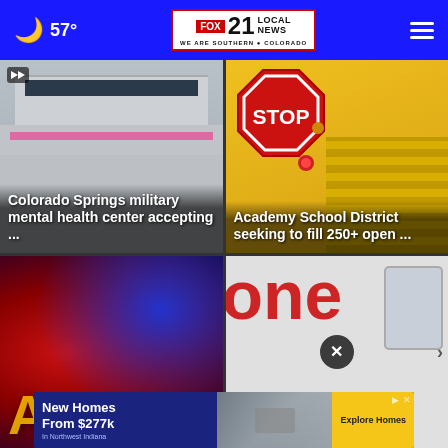FOX 21 LOCAL NEWS — WE ARE SOUTHERN COLORADO — 57°
[Figure (photo): Photo of a building exterior with dark windows and a pink neon band, overlaid with headline text: Colorado Springs military mental health center accepting ...]
[Figure (photo): Photo of a school bus stop sign (red octagon with STOP) next to a yellow school bus, overlaid with headline text: Academy School District seeking to fill 250+ open ...]
[Figure (photo): Blurred red and blue lights photo with partial yellow letter visible at bottom]
[Figure (photo): Partial view showing red bold letters 'one' with a close/X button overlay and a phone screen visible]
[Figure (screenshot): Advertisement banner: New Homes From $277k In Northwest Indiana — Explore Homes button]